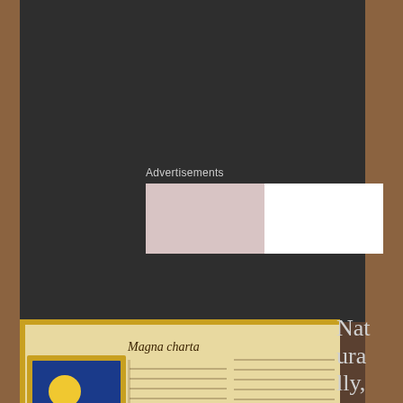Advertisements
[Figure (screenshot): Advertisement banner area with light pink/white background]
[Figure (photo): Illuminated medieval manuscript page showing Magna Carta with decorative initial letter containing figures, and dense Latin/Old French text in two columns]
Naturally, since co nc
Privacy & Cookies: This site uses cookies. By continuing to use this website, you agree to their use.
To find out more, including how to control cookies, see here:
Cookie Policy
Close and accept